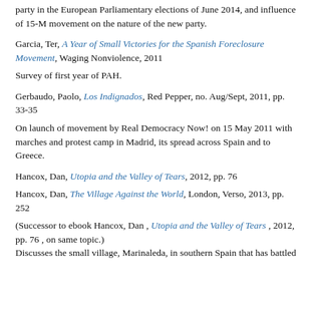party in the European Parliamentary elections of June 2014, and influence of 15-M movement on the nature of the new party.
Garcia, Ter, A Year of Small Victories for the Spanish Foreclosure Movement, Waging Nonviolence, 2011
Survey of first year of PAH.
Gerbaudo, Paolo, Los Indignados, Red Pepper, no. Aug/Sept, 2011, pp. 33-35
On launch of movement by Real Democracy Now! on 15 May 2011 with marches and protest camp in Madrid, its spread across Spain and to Greece.
Hancox, Dan, Utopia and the Valley of Tears, 2012, pp. 76
Hancox, Dan, The Village Against the World, London, Verso, 2013, pp. 252
(Successor to ebook Hancox, Dan , Utopia and the Valley of Tears , 2012, pp. 76 , on same topic.)
Discusses the small village, Marinaleda, in southern Spain that has battled